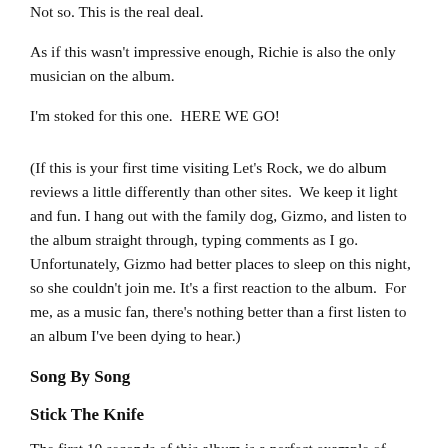Not so. This is the real deal.
As if this wasn't impressive enough, Richie is also the only musician on the album.
I'm stoked for this one.  HERE WE GO!
(If this is your first time visiting Let's Rock, we do album reviews a little differently than other sites.  We keep it light and fun. I hang out with the family dog, Gizmo, and listen to the album straight through, typing comments as I go. Unfortunately, Gizmo had better places to sleep on this night, so she couldn't join me. It's a first reaction to the album.  For me, as a music fan, there's nothing better than a first listen to an album I've been dying to hear.)
Song By Song
Stick The Knife
The first 10 seconds of this album is a perfect example of what